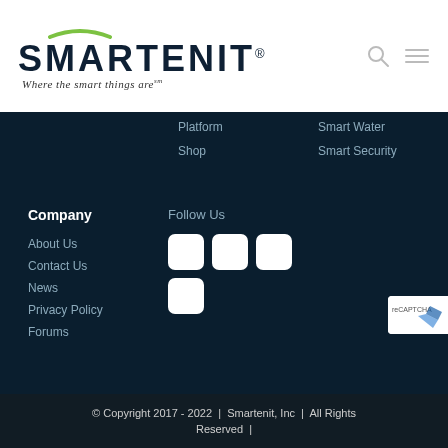[Figure (logo): Smartenit logo with green arc above text and tagline 'Where the smart things are']
Platform
Shop
Smart Water
Smart Security
Company
About Us
Contact Us
News
Privacy Policy
Forums
Follow Us
[Figure (illustration): Four social media icon buttons (white rounded squares) arranged in a grid: three in top row, one in bottom left]
© Copyright 2017 - 2022  |  Smartenit, Inc  |  All Rights Reserved  |